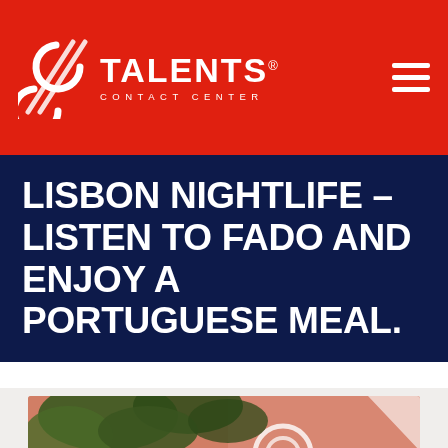CC TALENTS CONTACT CENTER
LISBON NIGHTLIFE – LISTEN TO FADO AND ENJOY A PORTUGUESE MEAL.
[Figure (photo): A woman partially visible beneath green foliage of a tree, with a pink wall featuring a white swirl/spiral decoration in the background. Outdoor setting, warm daylight.]